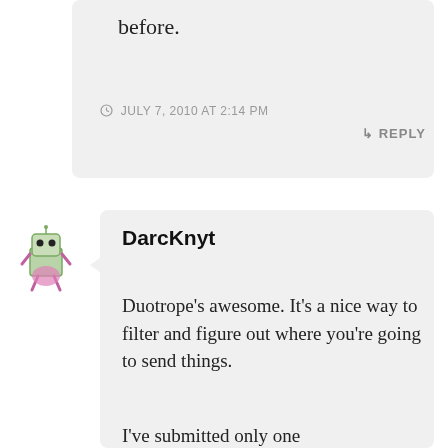before.
JULY 7, 2010 AT 2:14 PM
REPLY
DarcKnyt
Duotrope’s awesome. It’s a nice way to filter and figure out where you’re going to send things.
I’ve submitted only one